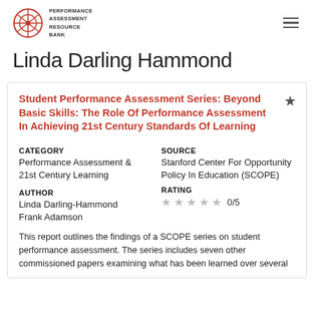Performance Assessment Resource Bank
Linda Darling Hammond
Student Performance Assessment Series: Beyond Basic Skills: The Role Of Performance Assessment In Achieving 21st Century Standards Of Learning
CATEGORY
Performance Assessment & 21st Century Learning
AUTHOR
Linda Darling-Hammond
Frank Adamson
SOURCE
Stanford Center For Opportunity Policy In Education (SCOPE)
RATING
0/5
This report outlines the findings of a SCOPE series on student performance assessment. The series includes seven other commissioned papers examining what has been learned over several